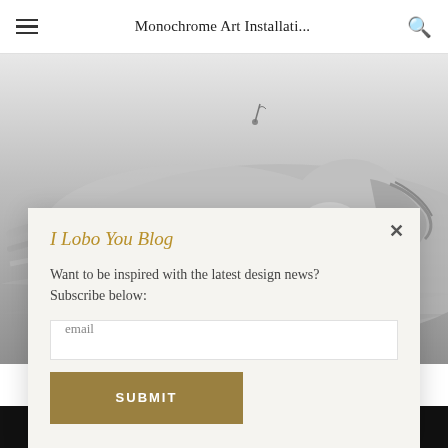Monochrome Art Installati...
[Figure (photo): Black and white photograph of a person with braided hair lying down, looking upward, in a monochromatic artistic style.]
I Lobo You Blog
Want to be inspired with the latest design news? Subscribe below:
email
SUBMIT
IMPACTFUL MINDS